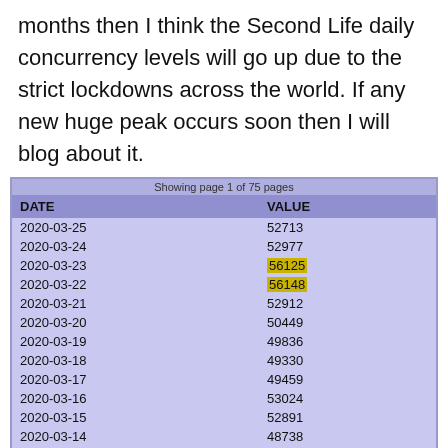months then I think the Second Life daily concurrency levels will go up due to the strict lockdowns across the world. If any new huge peak occurs soon then I will blog about it.
| DATE | VALUE |
| --- | --- |
| 2020-03-25 | 52713 |
| 2020-03-24 | 52977 |
| 2020-03-23 | 56125 |
| 2020-03-22 | 56148 |
| 2020-03-21 | 52912 |
| 2020-03-20 | 50449 |
| 2020-03-19 | 49836 |
| 2020-03-18 | 49330 |
| 2020-03-17 | 49459 |
| 2020-03-16 | 53024 |
| 2020-03-15 | 52891 |
| 2020-03-14 | 48738 |
| 2020-03-13 | 47045 |
| 2020-03-12 | 45566 |
| 2020-03-11 | 44758 |
| 2020-03-10 | 46832 |
| 2020-03-09 | 50943 |
| 2020-03-08 | 50207 |
| 2020-03-07 | 47052 |
| 2020-03-06 | 45616 |
| 2020-03-05 | 44690 |
| 2020-03-04 | 45641 |